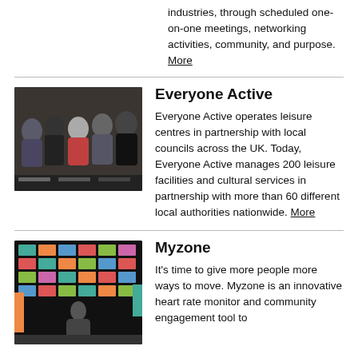industries, through scheduled one-on-one meetings, networking activities, community, and purpose. More
[Figure (photo): Group of people posing together at an event, likely a ribbon-cutting or opening ceremony]
Everyone Active
Everyone Active operates leisure centres in partnership with local councils across the UK. Today, Everyone Active manages 200 leisure facilities and cultural services in partnership with more than 60 different local authorities nationwide. More
[Figure (photo): Person standing in front of a colorful digital scoreboard display in a gym or fitness facility]
Myzone
It's time to give more people more ways to move. Myzone is an innovative heart rate monitor and community engagement tool to